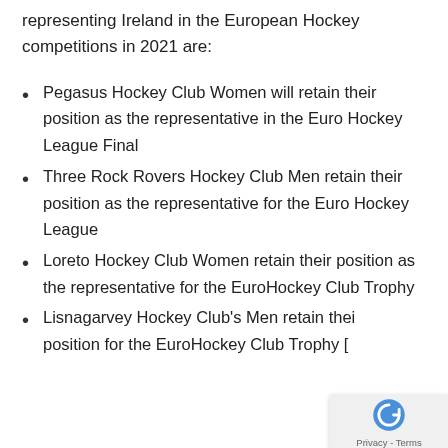representing Ireland in the European Hockey competitions in 2021 are:
Pegasus Hockey Club Women will retain their position as the representative in the Euro Hockey League Final
Three Rock Rovers Hockey Club Men retain their position as the representative for the Euro Hockey League
Loreto Hockey Club Women retain their position as the representative for the EuroHockey Club Trophy
Lisnagarvey Hockey Club's Men retain their position for the EuroHockey Club Trophy [continues]